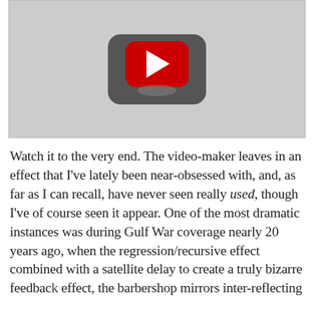[Figure (screenshot): YouTube video player placeholder showing the YouTube play button logo (red rounded rectangle with white play triangle) on a grey background]
Watch it to the very end. The video-maker leaves in an effect that I've lately been near-obsessed with, and, as far as I can recall, have never seen really used, though I've of course seen it appear. One of the most dramatic instances was during Gulf War coverage nearly 20 years ago, when the regression/recursive effect combined with a satellite delay to create a truly bizarre feedback effect, the barbershop mirrors inter-reflecting over thousands of miles and through outer...